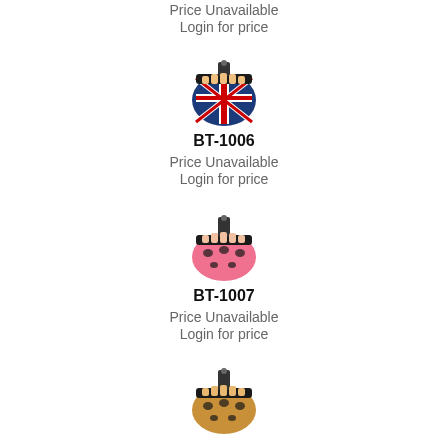Price Unavailable
Login for price
[Figure (photo): BT-1006 fingerless gloves with Union Jack / UK flag design in blue, red, and white]
BT-1006
Price Unavailable
Login for price
[Figure (photo): BT-1007 fingerless gloves in pink with black leopard print pattern]
BT-1007
Price Unavailable
Login for price
[Figure (photo): BT-1008 fingerless gloves in tan/brown with black leopard print pattern]
BT-1008
Price Unavailable
Login for price
[Figure (photo): Another fingerless gloves product, partially visible at bottom]